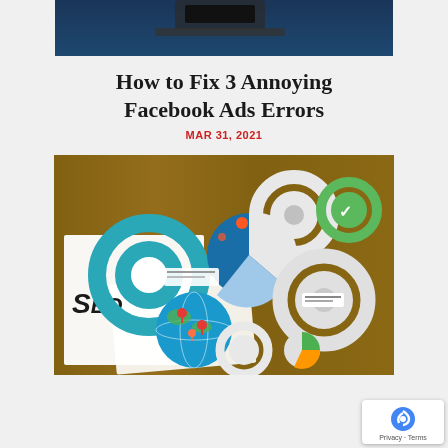[Figure (photo): Top portion of a dark blue background image showing a mechanical/industrial object, partially cropped at the top of the page.]
How to Fix 3 Annoying Facebook Ads Errors
MAR 31, 2021
[Figure (photo): Photo of SEO marketing concept showing gears, pie charts, a globe with location pins, and various digital marketing icons on a wooden table surface.]